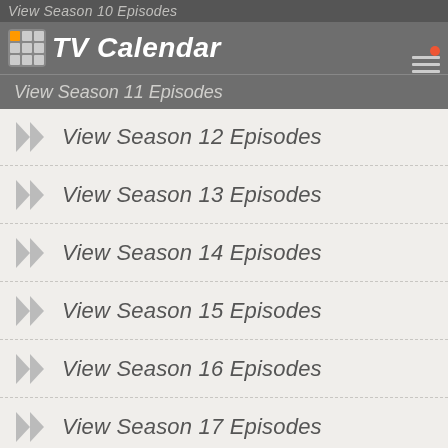View Season 10 Episodes
TV Calendar
View Season 11 Episodes
View Season 12 Episodes
View Season 13 Episodes
View Season 14 Episodes
View Season 15 Episodes
View Season 16 Episodes
View Season 17 Episodes
View Season 18 Episodes
You May Also Like...
[Figure (photo): Thumbnails of related TV shows]